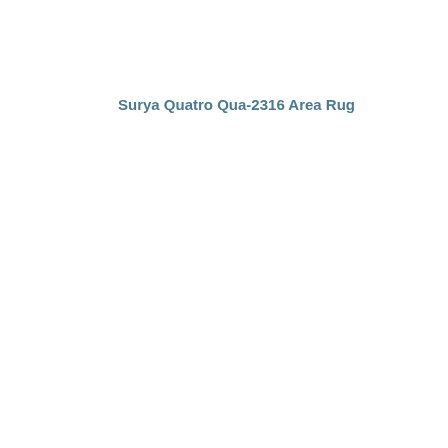Surya Quatro Qua-2316 Area Rug